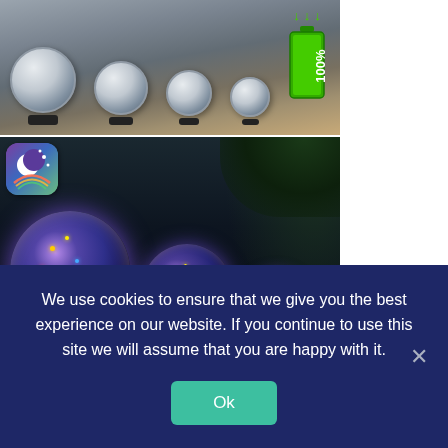[Figure (photo): Solar crackle globe lights arranged on outdoor steps in daylight, with a green battery icon at 100% and solar energy arrows overlaid on the right side]
[Figure (photo): Four crackle glass globe solar lights glowing with colorful blue, purple, and multicolored LEDs at night on a stone ledge, with a weather app icon in the top-left corner]
We use cookies to ensure that we give you the best experience on our website. If you continue to use this site we will assume that you are happy with it.